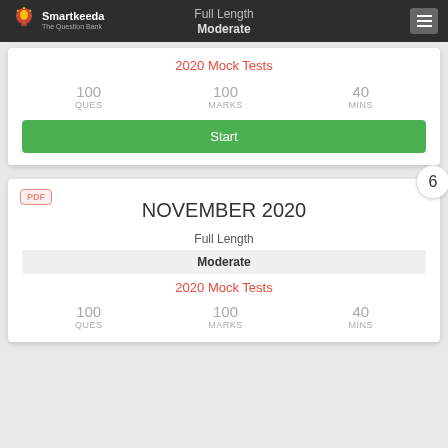Full Length
Moderate
2020 Mock Tests
100 QUES   100 MARKS   40 MINS
Start
6
NOVEMBER 2020
Full Length
Moderate
2020 Mock Tests
100 QUES   100 MARKS   40 MINS